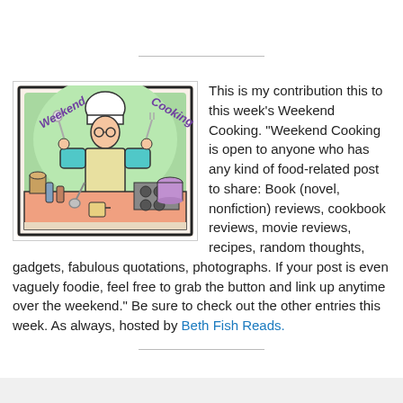[Figure (illustration): Weekend Cooking logo: cartoon chef behind a kitchen counter with pots and pans, text 'Weekend' and 'Cooking' in purple cursive on either side, green arch background, pink border frame]
This is my contribution this to this week's Weekend Cooking. "Weekend Cooking is open to anyone who has any kind of food-related post to share: Book (novel, nonfiction) reviews, cookbook reviews, movie reviews, recipes, random thoughts, gadgets, fabulous quotations, photographs. If your post is even vaguely foodie, feel free to grab the button and link up anytime over the weekend." Be sure to check out the other entries this week. As always, hosted by Beth Fish Reads.